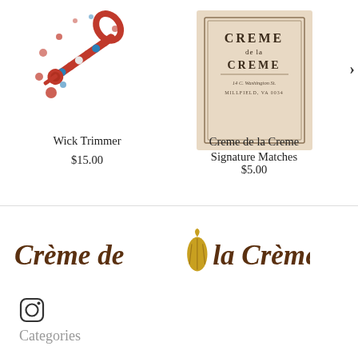[Figure (photo): Red beaded wick trimmer tool with decorative multicolor beads on a white background]
Wick Trimmer
$15.00
[Figure (photo): Creme de la Creme Signature Matches box with beige/cream label on a neutral background]
Creme de la Creme Signature Matches
$5.00
[Figure (logo): Crème de la Crème brand logo in dark brown italic serif font with a gold cacao pod illustration]
[Figure (other): Instagram icon]
Categories